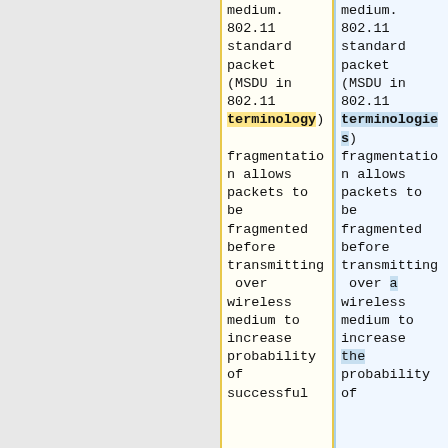medium. 802.11 standard packet (MSDU in 802.11 terminology) fragmentation allows packets to be fragmented before transmitting over wireless medium to increase probability of successful
medium. 802.11 standard packet (MSDU in 802.11 terminologies) fragmentation allows packets to be fragmented before transmitting over a wireless medium to increase the probability of